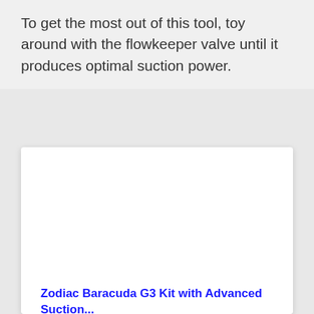To get the most out of this tool, toy around with the flowkeeper valve until it produces optimal suction power.
[Figure (photo): White rectangular image area, likely a product photo placeholder]
Zodiac Baracuda G3 Kit with Advanced Suction...
Quiet, powerful suction cleaner; works with low-speed pumps for maximum efficiency.